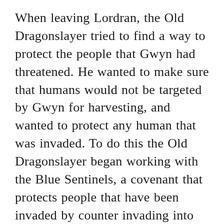When leaving Lordran, the Old Dragonslayer tried to find a way to protect the people that Gwyn had threatened. He wanted to make sure that humans would not be targeted by Gwyn for harvesting, and wanted to protect any human that was invaded. To do this the Old Dragonslayer began working with the Blue Sentinels, a covenant that protects people that have been invaded by counter invading into the fight and acting as backup for the victim. When the Old Dragonslayer saw what the Blue Sentinels were doing, he joined up and acted as protection from anything that Gwyn may send their way. He knew that the Blue Sentinels would be a target for Gwyn as they opposed what he was doing. the Old Dragonslayer